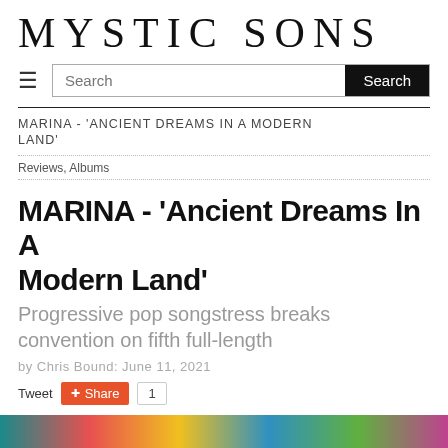MYSTIC SONS
MARINA - 'ANCIENT DREAMS IN A MODERN LAND'
Reviews, Albums
MARINA - 'Ancient Dreams In A Modern Land'
Progressive pop songstress breaks convention on fifth full-length
by Chris Bound: June 11, 2021
[Figure (infographic): Social sharing buttons: Tweet, Share (with count of 1)]
[Figure (photo): Colorful image strip at bottom of page, partially visible]